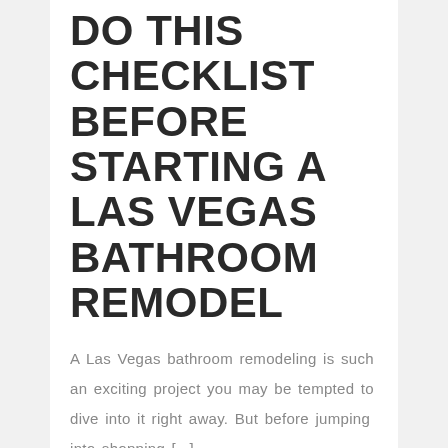DO THIS CHECKLIST BEFORE STARTING A LAS VEGAS BATHROOM REMODEL
A Las Vegas bathroom remodeling is such an exciting project you may be tempted to dive into it right away. But before jumping into shopping [...]